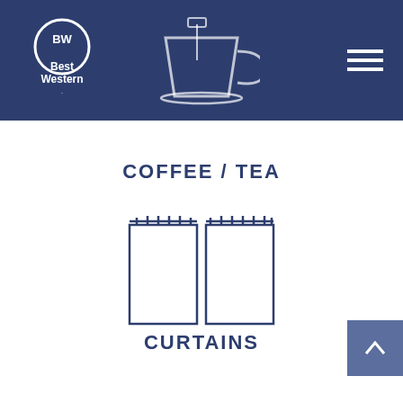[Figure (logo): Best Western logo and header with coffee/tea cup icon and hamburger menu]
COFFEE / TEA
[Figure (illustration): Curtains icon - two rectangular curtain panels hanging from a rod with rings]
CURTAINS
[Figure (illustration): Crib/sleeping icon with Z letters indicating sleep]